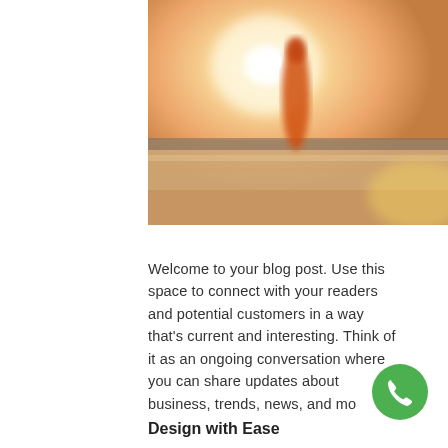[Figure (photo): Blurred outdoor photo of a person standing at a waterfront during golden hour/sunset, wearing an orange garment. Warm orange and yellow tones with bright backlight.]
Welcome to your blog post. Use this space to connect with your readers and potential customers in a way that's current and interesting. Think of it as an ongoing conversation where you can share updates about business, trends, news, and mo...
Design with Ease